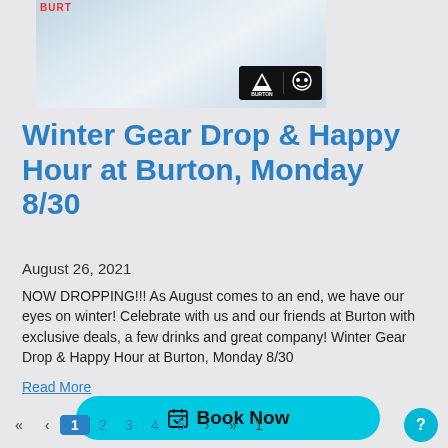[Figure (photo): Snowy winter scene with Burton and Two Robbers logos overlaid in a black badge in the bottom right of the image.]
Winter Gear Drop & Happy Hour at Burton, Monday 8/30
August 26, 2021
NOW DROPPING!!! As August comes to an end, we have our eyes on winter! Celebrate with us and our friends at Burton with exclusive deals, a few drinks and great company! Winter Gear Drop & Happy Hour at Burton, Monday 8/30
Read More
Book Now
« ‹ 1 2 3 4 5 › » 1